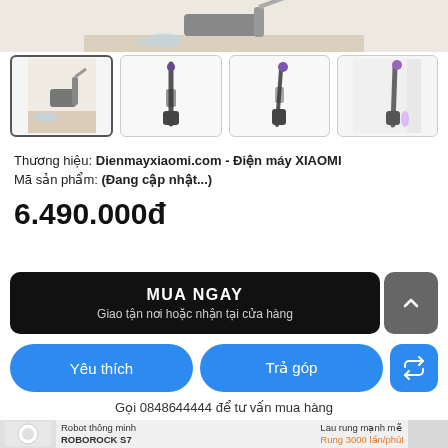[Figure (photo): Top banner partial product image of wet/dry vacuum cleaner on beige background]
[Figure (photo): Thumbnail 1 (selected): vacuum cleaner on wet floor with spill]
[Figure (photo): Thumbnail 2: upright vacuum cleaner, dark color, full-length]
[Figure (photo): Thumbnail 3: upright vacuum with purple handle]
[Figure (photo): Thumbnail 4: vacuum cleaner leaning against wall]
Thương hiệu: Dienmayxiaomi.com - Điện máy XIAOMI
Mã sản phẩm: (Đang cập nhật...)
6.490.000đ
MUA NGAY
Giao tận nơi hoặc nhận tại cửa hàng
Yêu thích
Trả góp
Gọi 0848644444 để tư vấn mua hàng
[Figure (photo): Bottom advertisement banner for Roborock S7 robot vacuum: Robot thông minh ROBOROCK S7, Lau rung mạnh mẽ Rung 3000 lần/phút]